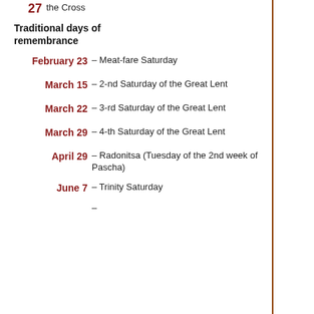27 – the Cross
Traditional days of remembrance
February 23 – Meat-fare Saturday
March 15 – 2-nd Saturday of the Great Lent
March 22 – 3-rd Saturday of the Great Lent
March 29 – 4-th Saturday of the Great Lent
April 29 – Radonitsa (Tuesday of the 2nd week of Pascha)
June 7 – Trinity Saturday
–